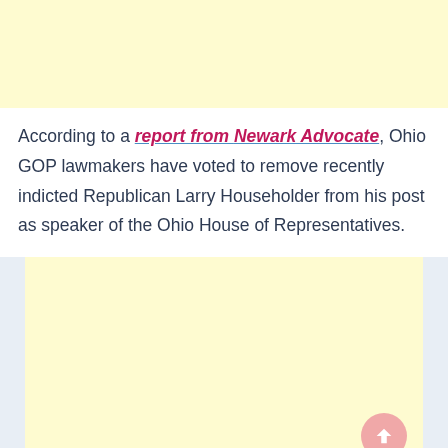[Figure (other): Yellow advertisement banner at the top of the page]
According to a report from Newark Advocate, Ohio GOP lawmakers have voted to remove recently indicted Republican Larry Householder from his post as speaker of the Ohio House of Representatives.
[Figure (other): Yellow advertisement banner at the bottom of the page]